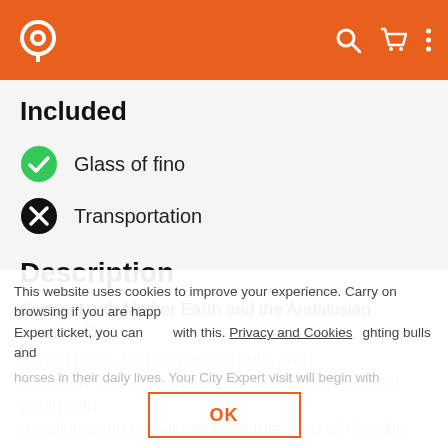[Figure (screenshot): Orange navigation bar with location pin logo on left, and search, cart, and menu icons on right]
Included
Glass of fino
Transportation
Description
Connect with Mother Earth and the Andalusian countryside,
This website uses cookies to improve your experience. Carry on browsing if you are happy with this. Privacy and Cookies
Expert ticket, you can ... ghting bulls and horses in their daily lives. Your City Expert visit will begin with a walk around the 'dehesa' pasture. You will be able to see Cadiz...